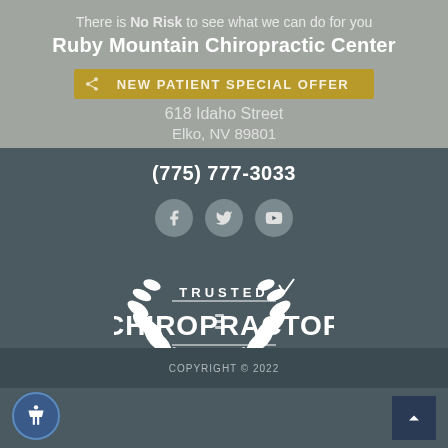There is No Risk to see what we can do for you
Ruby Mountain Chiropractic Center
NEW PATIENT SPECIAL OFFER
618 Idaho Street
Elko, NV 89801
(775) 777-3033
[Figure (logo): Trusted Chiropractor badge logo with laurel wreath]
COPYRIGHT © 2022